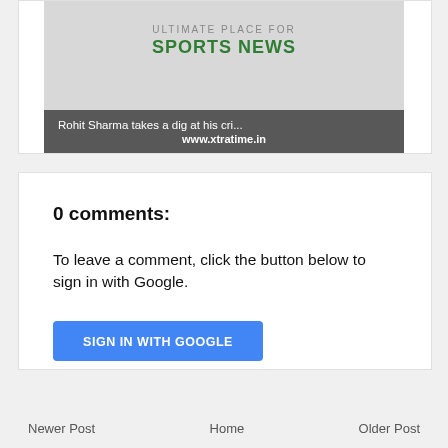[Figure (screenshot): Sports news website banner with text 'ULTIMATE PLACE FOR SPORTS NEWS' and overlay caption 'Rohit Sharma takes a dig at his cri...' and URL www.xtratime.in]
0 comments:
To leave a comment, click the button below to sign in with Google.
SIGN IN WITH GOOGLE
Newer Post   Home   Older Post